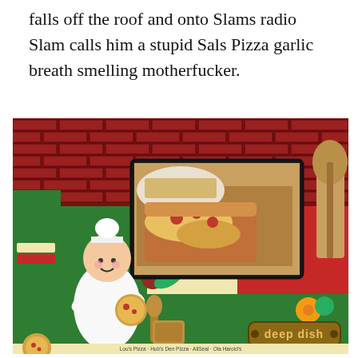falls off the roof and onto Slams radio Slam calls him a stupid Sals Pizza garlic breath smelling motherfucker.
[Figure (illustration): Pizza restaurant themed collage illustration featuring a brick wall background, Italian flag colors (green, white, red), an animated chef character holding a pizza, a photo of real deep-dish pizza slices, decorative flowers, a wooden paddle, and a 'deep dish' badge at the bottom right. A red X button appears at the bottom center.]